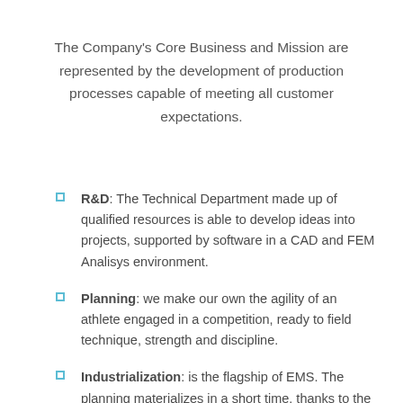The Company's Core Business and Mission are represented by the development of production processes capable of meeting all customer expectations.
R&D: The Technical Department made up of qualified resources is able to develop ideas into projects, supported by software in a CAD and FEM Analisys environment.
Planning: we make our own the agility of an athlete engaged in a competition, ready to field technique, strength and discipline.
Industrialization: is the flagship of EMS. The planning materializes in a short time, thanks to the